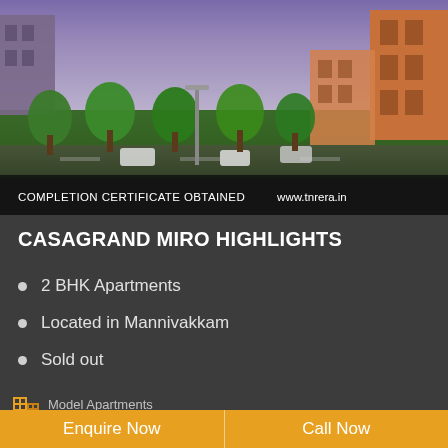[Figure (photo): Aerial/street view rendering of Casagrand Miro residential apartment complex with trees, road, greenery, and building structures visible]
COMPLETION CERTIFICATE OBTAINED    www.tnrera.in
CASAGRAND MIRO HIGHLIGHTS
2 BHK Apartments
Located in Mannivakkam
Sold out
Model Apartments
Enquire Now
Call Now